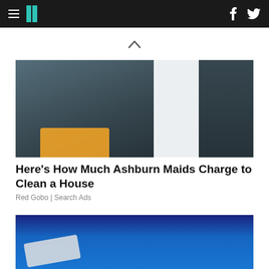HuffPost navigation with hamburger menu, logo, Facebook and Twitter icons
[Figure (other): Upward chevron/caret symbol indicating scroll up]
[Figure (photo): Two women in dark scrubs in a clinical/bathroom setting; the foreground woman smiles at camera with yellow rubber gloves folded over her arms]
Here's How Much Ashburn Maids Charge to Clean a House
Red Gobo | Search Ads
[Figure (photo): Close-up of a hand with a cleaning cloth on a blue car surface]